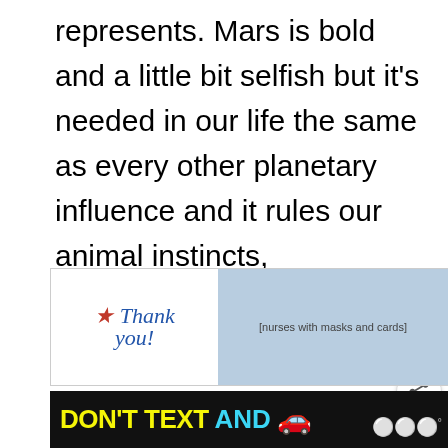represents. Mars is bold and a little bit selfish but it's needed in our life the same as every other planetary influence and it rules our animal instincts, aggression, anger and survival.
All of this translates into our life as sexual desire, willpower, competitiveness and self-assertion.
[Figure (screenshot): Operation Gratitude advertisement banner with Thank You text, nurses in masks, and logo]
[Figure (screenshot): NHTSA Don't Text and Drive advertisement banner on black background]